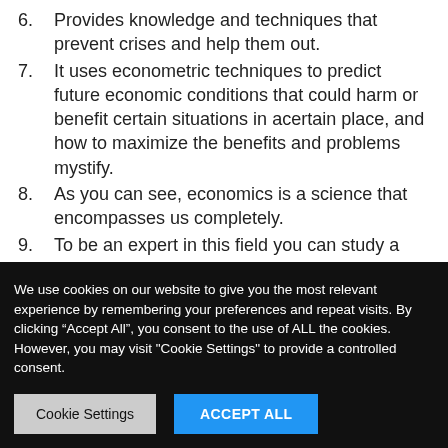6. Provides knowledge and techniques that prevent crises and help them out.
7. It uses econometric techniques to predict future economic conditions that could harm or benefit certain situations in acertain place, and how to maximize the benefits and problems mystify.
8. As you can see, economics is a science that encompasses us completely.
9. To be an expert in this field you can study a university degree in economics, in this course the
We use cookies on our website to give you the most relevant experience by remembering your preferences and repeat visits. By clicking “Accept All”, you consent to the use of ALL the cookies. However, you may visit "Cookie Settings" to provide a controlled consent.